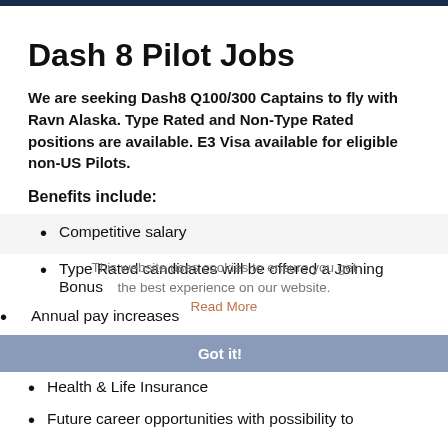Dash 8 Pilot Jobs
We are seeking Dash8 Q100/300 Captains to fly with Ravn Alaska. Type Rated and Non-Type Rated positions are available. E3 Visa available for eligible non-US Pilots.
Benefits include:
Competitive salary
Type Rated candidates will be offered a Joining Bonus
Annual pay increases
Health & Life Insurance
Future career opportunities with possibility to